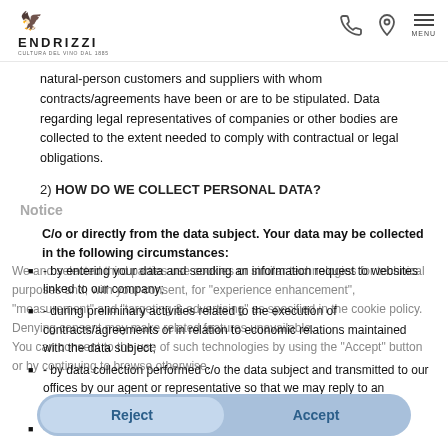ENDRIZZI - Cultura del vino dal 1885
natural-person customers and suppliers with whom contracts/agreements have been or are to be stipulated. Data regarding legal representatives of companies or other bodies are collected to the extent needed to comply with contractual or legal obligations.
2) HOW DO WE COLLECT PERSONAL DATA?
Notice
C/o or directly from the data subject. Your data may be collected in the following circumstances:
We and selected third parties use cookies or similar technologies for technical purposes and, with your consent, for "experience enhancement", "measurement" and "targeting & advertising" as specified in the cookie policy. Denying consent may make related features unavailable.
You can consent to the use of such technologies by using the "Accept" button or by continuing to browse otherwise.
- by entering your data and sending an information request to websites linked to our company;
- during preliminary activities related to the execution of contracts/agreements or in relation to economic relations maintained with the data subject;
- by data collection performed c/o the data subject and transmitted to our offices by our agent or representative so that we may reply to an information request, provide an estimate, or fill an order;
- supplied in correspondence, emails, messages, telephone
Reject    Accept